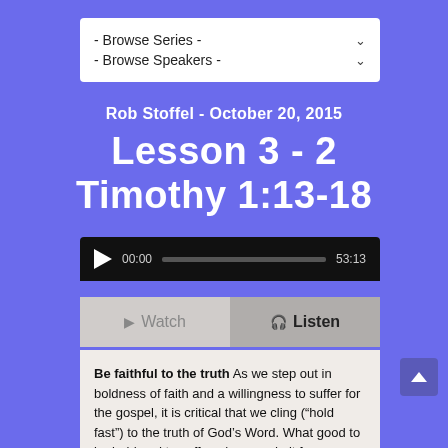[Figure (screenshot): Dropdown UI elements: - Browse Series - and - Browse Speakers - with chevron arrows]
Rob Stoffel - October 20, 2015
Lesson 3 - 2 Timothy 1:13-18
[Figure (screenshot): Audio player with play button, 00:00 timestamp, progress bar, and 53:13 duration]
[Figure (screenshot): Watch and Listen buttons below audio player]
Be faithful to the truth As we step out in boldness of faith and a willingness to suffer for the gospel, it is critical that we cling (“hold fast”) to the truth of God’s Word. What good to be bold and to suffer when we do it for